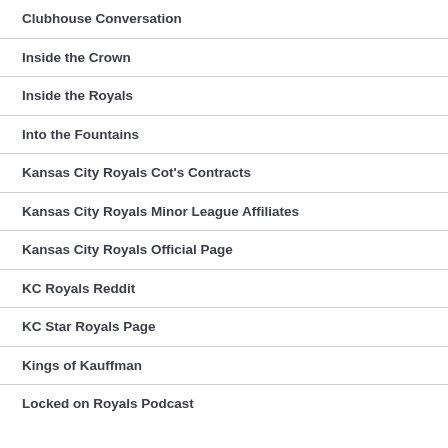Clubhouse Conversation
Inside the Crown
Inside the Royals
Into the Fountains
Kansas City Royals Cot's Contracts
Kansas City Royals Minor League Affiliates
Kansas City Royals Official Page
KC Royals Reddit
KC Star Royals Page
Kings of Kauffman
Locked on Royals Podcast